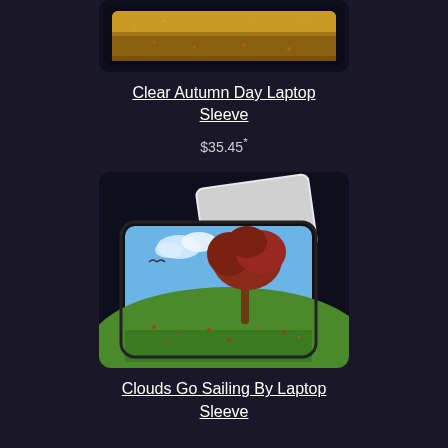[Figure (photo): Partial view of a laptop sleeve with autumn grass/field pattern, dark background]
Clear Autumn Day Laptop Sleeve
$35.45*
[Figure (photo): Laptop sleeve with a scene of a lone tree with autumn red foliage on a grassy hill under a blue sky with clouds, laptop partially visible]
Clouds Go Sailing By Laptop Sleeve